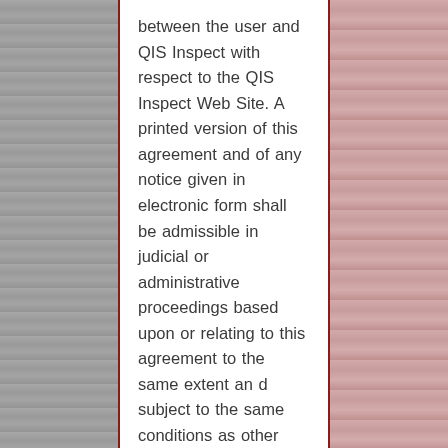between the user and QIS Inspect with respect to the QIS Inspect Web Site. A printed version of this agreement and of any notice given in electronic form shall be admissible in judicial or administrative proceedings based upon or relating to this agreement to the same extent an d subject to the same conditions as other business documents and records originally